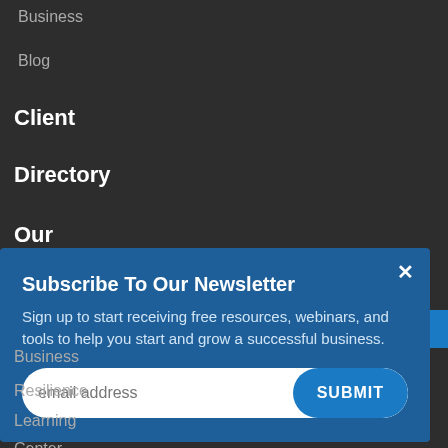Business
Blog
Client
Directory
Our
ory >
Subscribe To Our Newsletter
Sign up to start receiving free resources, webinars, and tools to help you start and grow a successful business.
email address
SUBMIT
Business
Resilience
Learning
Center